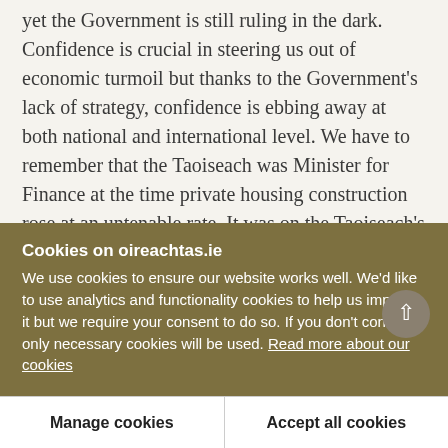yet the Government is still ruling in the dark. Confidence is crucial in steering us out of economic turmoil but thanks to the Government's lack of strategy, confidence is ebbing away at both national and international level. We have to remember that the Taoiseach was Minister for Finance at the time private housing construction rose at an untenable rate. It was on the Taoiseach's watch that much of the irresponsible and reckless lending practices of the banks took place and it is now the Taoiseach who is responsible for the past six months which has
Cookies on oireachtas.ie
We use cookies to ensure our website works well. We'd like to use analytics and functionality cookies to help us improve it but we require your consent to do so. If you don't consent, only necessary cookies will be used. Read more about our cookies
Manage cookies
Accept all cookies